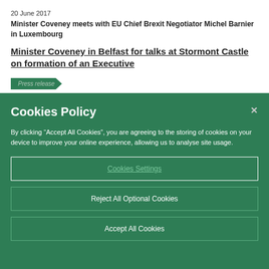20 June 2017
Minister Coveney meets with EU Chief Brexit Negotiator Michel Barnier in Luxembourg
Minister Coveney in Belfast for talks at Stormont Castle on formation of an Executive
Press release
Cookies Policy
By clicking “Accept All Cookies”, you are agreeing to the storing of cookies on your device to improve your online experience, allowing us to analyse site usage.
Cookies Settings
Reject All Optional Cookies
Accept All Cookies